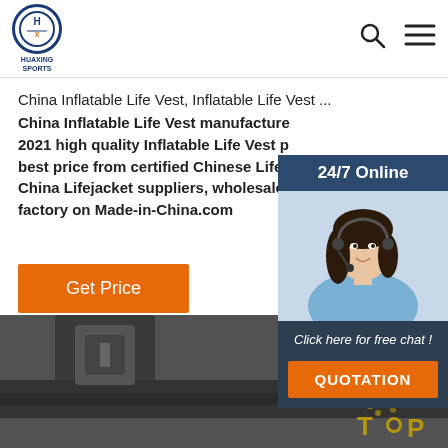[Figure (logo): Huaxing Sports logo with circular blue border and stylized letters, with text HUAXING SPORTS below]
China Inflatable Life Vest, Inflatable Life Vest ...
China Inflatable Life Vest manufacturers - Select 2021 high quality Inflatable Life Vest products in best price from certified Chinese Life Vest, China Lifejacket suppliers, wholesalers and factory on Made-in-China.com
[Figure (infographic): 24/7 Online chat widget showing a woman with headset and a QUOTATION button]
[Figure (photo): Close-up photo of a dark grey inflatable life vest/flotation device with buckle straps and a yellow section visible]